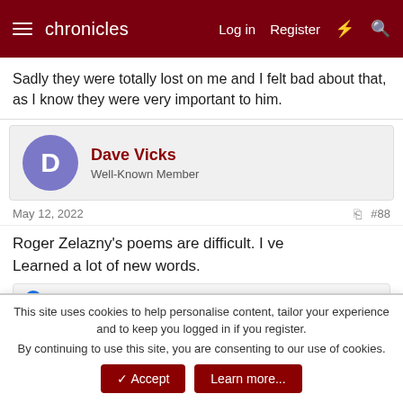chronicles  Log in  Register
Sadly they were totally lost on me and I felt bad about that, as I know they were very important to him.
Dave Vicks
Well-Known Member
May 12, 2022  #88
Roger Zelazny's poems are difficult. I ve Learned a lot of new words.
Hugh
This site uses cookies to help personalise content, tailor your experience and to keep you logged in if you register.
By continuing to use this site, you are consenting to our use of cookies.
Accept  Learn more...